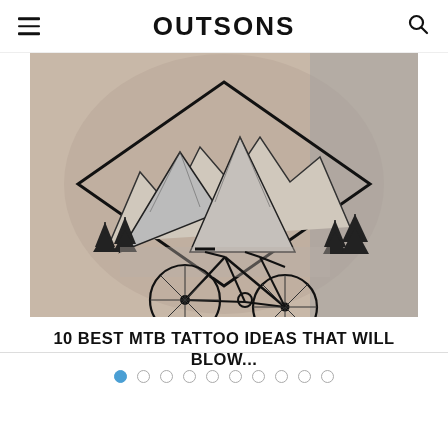OUTSONS
[Figure (photo): Black and white tattoo on a leg/arm showing a diamond-shaped geometric frame containing mountains and pine trees, with a mountain bike in the foreground below the diamond shape. The tattoo is detailed linework style.]
10 BEST MTB TATTOO IDEAS THAT WILL BLOW...